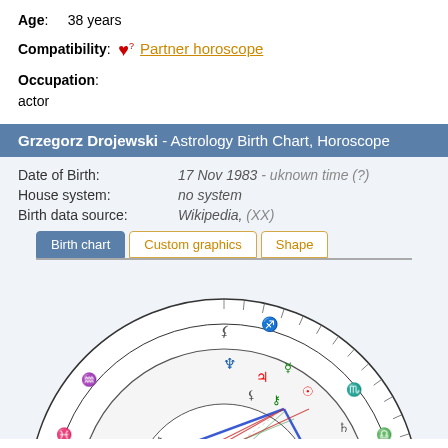Age: 38 years
Compatibility: ❤️? Partner horoscope
Occupation: actor
Grzegorz Drojewski - Astrology Birth Chart, Horoscope
Date of Birth: 17 Nov 1983 - uknown time (?)
House system: no system
Birth data source: Wikipedia, (XX)
Tabs: Birth chart | Custom graphics | Shape
[Figure (other): Astrological birth chart wheel showing zodiac signs and planetary positions for Grzegorz Drojewski, with colored aspect lines inside the wheel.]